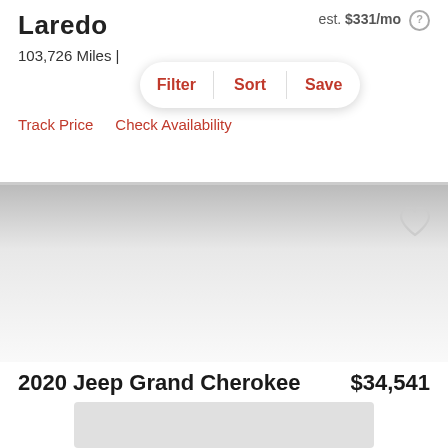Laredo
est. $331/mo
103,726 Miles |
Filter  Sort  Save
Track Price   Check Availability
[Figure (photo): Car listing image area with gradient background]
2020 Jeep Grand Cherokee   $34,541